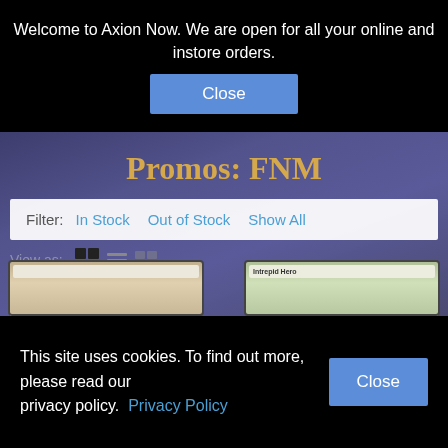Welcome to Axion Now. We are open for all your online and instore orders.
Close
Promos: FNM
Filter: In Stock  Out of Stock  Show All
View as:
More Filters
Checkout →
[Figure (screenshot): Two Magic: The Gathering card thumbnails partially visible at bottom of product listing page]
This site uses cookies. To find out more, please read our privacy policy.  Privacy Policy
Close